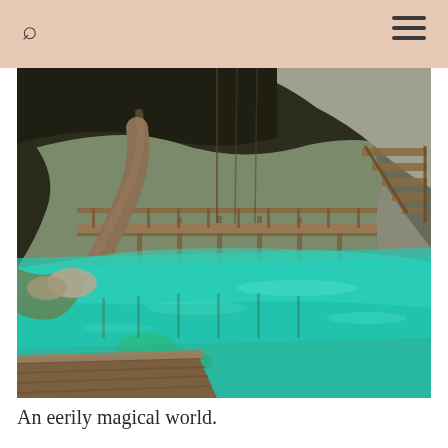[Figure (photo): A cenote with brilliant turquoise-green water. A wooden boardwalk/dock structure is visible crossing the water in the middle ground. A tall tree trunk leans diagonally in the foreground on the left side. Rocky limestone cave walls and overhangs form the background. Ropes hang from above. A wooden platform/deck is visible in the lower foreground. Natural light illuminates the scene.]
An eerily magical world.